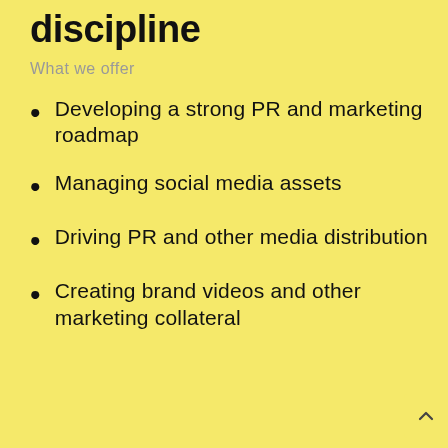discipline
What we offer
Developing a strong PR and marketing roadmap
Managing social media assets
Driving PR and other media distribution
Creating brand videos and other marketing collateral